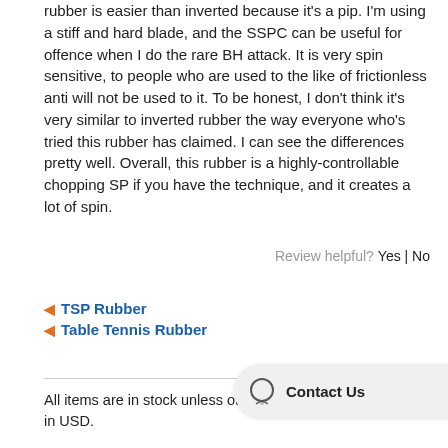rubber is easier than inverted because it's a pip. I'm using a stiff and hard blade, and the SSPC can be useful for offence when I do the rare BH attack. It is very spin sensitive, to people who are used to the like of frictionless anti will not be used to it. To be honest, I don't think it's very similar to inverted rubber the way everyone who's tried this rubber has claimed. I can see the differences pretty well. Overall, this rubber is a highly-controllable chopping SP if you have the technique, and it creates a lot of spin.
Review helpful?  Yes | No
◄ TSP Rubber
◄ Table Tennis Rubber
All items are in stock unless otherwise stated. All prices are in USD.
If you need help or advice please contact us, we're happy to help!
[Figure (other): Contact Us chat bubble widget in bottom right corner]